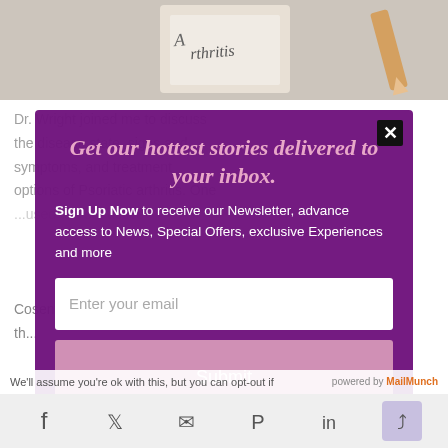[Figure (photo): Top portion of an image showing a pencil and handwritten word 'Arthritis' on paper, partially visible at top of page]
Dr. Wright joined me to discuss the disease state, signs and symptoms, and treatment options of Psoriatic arthritis. One ... used to treat active ... Cosentyx® (secukinumab). Dr. ...
Get our hottest stories delivered to your inbox.
Sign Up Now to receive our Newsletter, advance access to News, Special Offers, exclusive Experiences and more
Enter your email
Submit
We'll assume you're ok with this, but you can opt-out if
powered by MailMunch
[Figure (infographic): Social share bar with icons for Facebook, Twitter, email, Pinterest, LinkedIn, and a share icon]